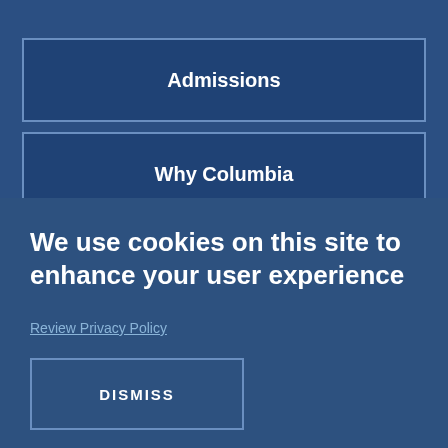Admissions
Why Columbia
We use cookies on this site to enhance your user experience
Review Privacy Policy
DISMISS